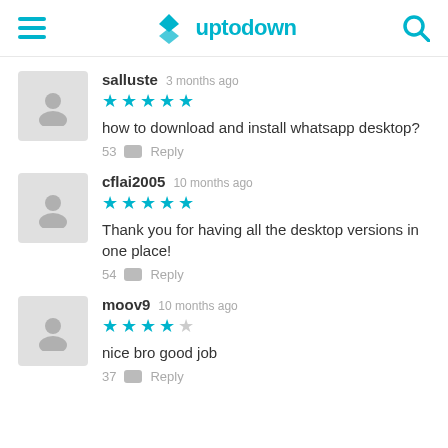uptodown
salluste  3 months ago
★★★★★
how to download and install whatsapp desktop?
53  Reply
cflai2005  10 months ago
★★★★★
Thank you for having all the desktop versions in one place!
54  Reply
moov9  10 months ago
★★★★☆
nice bro good job
37  Reply